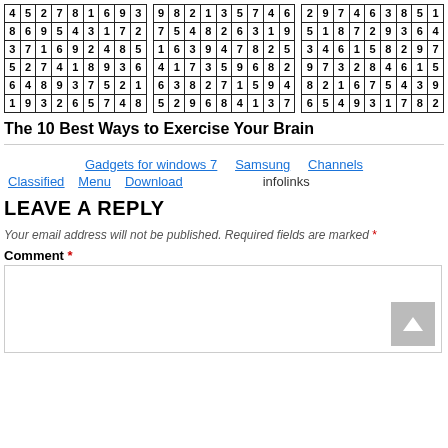[Figure (other): Three 6x9 sudoku-style number grids side by side with bold borders]
The 10 Best Ways to Exercise Your Brain
Gadgets for windows 7   Samsung   Channels   Classified   Menu   Download   infolinks
LEAVE A REPLY
Your email address will not be published. Required fields are marked *
Comment *